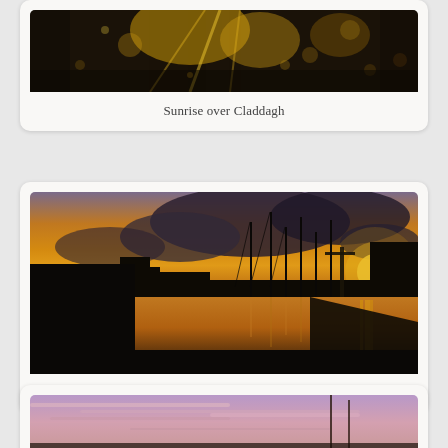[Figure (photo): Sunrise over Claddagh - dark atmospheric photo with bokeh light effects and warm golden light]
Sunrise over Claddagh
[Figure (photo): Galway Dawn - harbour marina at dawn/sunset with sailboat masts silhouetted against orange sky reflected in calm water]
Galway Dawn
[Figure (photo): Partial view of a third photo showing a pink/purple sunset sky with mast silhouettes]